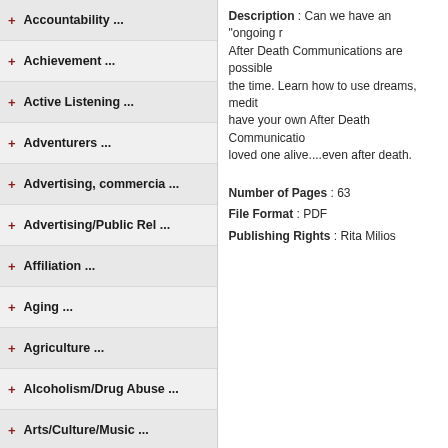Accountability ...
Achievement ...
Active Listening ...
Adventurers ...
Advertising, commercia ...
Advertising/Public Rel ...
Affiliation ...
Aging ...
Agriculture ...
Alcoholism/Drug Abuse ...
Arts/Culture/Music ...
Attitude ...
Author Promotion ...
Bereavement; Spirit/So ...
Best-selling Authors ...
Description : Can we have an "ongoing" relationship with loved ones in spirit? After Death Communications are possible. They happen all the time. Learn how to use dreams, meditation and signs to have your own After Death Communication and keep your loved one alive....even after death.
Number of Pages : 63
File Format : PDF
Publishing Rights : Rita Milios